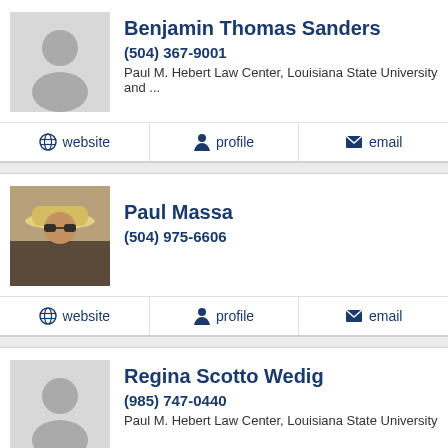Benjamin Thomas Sanders
(504) 367-9001
Paul M. Hebert Law Center, Louisiana State University and ...
website
profile
email
Paul Massa
(504) 975-6606
website
profile
email
Regina Scotto Wedig
(985) 747-0440
Paul M. Hebert Law Center, Louisiana State University